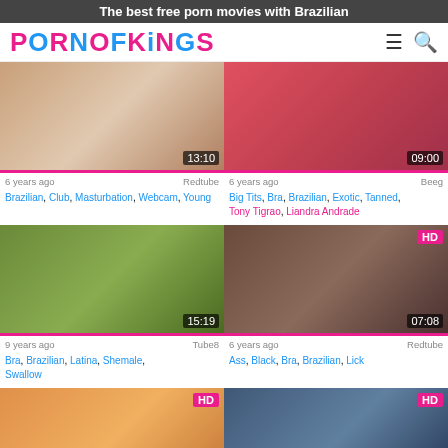The best free porn movies with Brazilian
[Figure (logo): PORNOFKINGS logo with hamburger menu and search icon]
[Figure (screenshot): Video thumbnail 13:10, 6 years ago, Redtube]
6 years ago  Redtube
Brazilian, Club, Masturbation, Webcam, Young
[Figure (screenshot): Video thumbnail 09:00, 6 years ago, Beeg]
6 years ago  Beeg
Big Tits, Bra, Brazilian, Exotic, Tanned, Tony Tigrao, Liandra Andrade
[Figure (screenshot): Video thumbnail 15:19, 9 years ago, Tube8]
9 years ago  Tube8
Bra, Brazilian, Latina, Shemale, Swallow
[Figure (screenshot): Video thumbnail 07:08 HD, 6 years ago, Redtube]
6 years ago  Redtube
Ass, Black, Bra, Brazilian, Lick
[Figure (screenshot): Video thumbnail HD, bottom left, partially visible]
[Figure (screenshot): Video thumbnail HD, bottom right, partially visible]